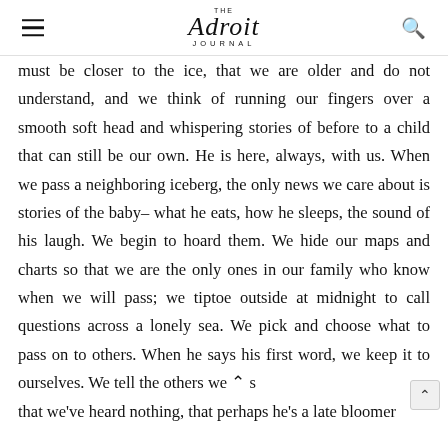The Adroit Journal
must be closer to the ice, that we are older and do not understand, and we think of running our fingers over a smooth soft head and whispering stories of before to a child that can still be our own. He is here, always, with us. When we pass a neighboring iceberg, the only news we care about is stories of the baby– what he eats, how he sleeps, the sound of his laugh. We begin to hoard them. We hide our maps and charts so that we are the only ones in our family who know when we will pass; we tiptoe outside at midnight to call questions across a lonely sea. We pick and choose what to pass on to others. When he says his first word, we keep it to ourselves. We tell the others we s that we've heard nothing, that perhaps he's a late bloomer